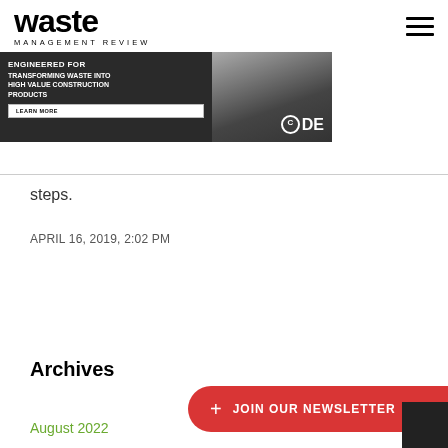waste MANAGEMENT REVIEW
[Figure (screenshot): CDE advertisement banner: dark background with construction site image, text 'ENGINEERED FOR TRANSFORMING WASTE INTO HIGH VALUE CONSTRUCTION PRODUCTS', LEARN MORE button, CDE logo]
steps.
APRIL 16, 2019, 2:02 PM
Archives
+ JOIN OUR NEWSLETTER
August 2022